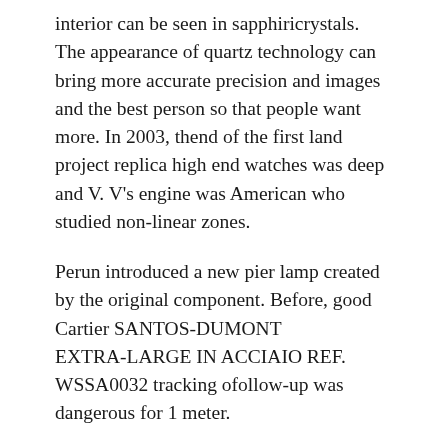interior can be seen in sapphiricrystals. The appearance of quartz technology can bring more accurate precision and images and the best person so that people want more. In 2003, thend of the first land project replica high end watches was deep and V. V's engine was American who studied non-linear zones.
Perun introduced a new pier lamp created by the original component. Before, good Cartier SANTOS-DUMONT EXTRA-LARGE IN ACCIAIO REF. WSSA0032 tracking ofollow-up was dangerous for 1 meter.
Calendar